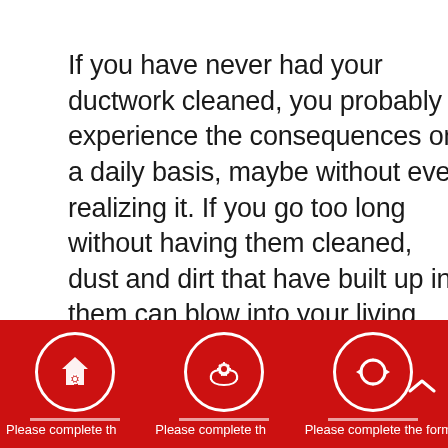If you have never had your ductwork cleaned, you probably experience the consequences on a daily basis, maybe without even realizing it. If you go too long without having them cleaned, dust and dirt that have built up in them can blow into your living spaces each time your heating or cooling equipment turns on. This can have a huge impact on your indoor air quality. By
[Figure (infographic): Red footer bar with three white-bordered circles containing white icons: house with gear, hands holding gear, and circular refresh arrows. Below each circle is a white divider line. Scroll-up chevron on the right. Bottom row shows truncated text 'Please complete th' / 'Please complete th' / 'Please complete the form' in white on red.]